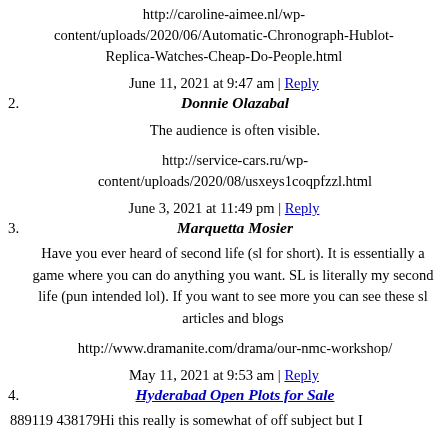http://caroline-aimee.nl/wp-content/uploads/2020/06/Automatic-Chronograph-Hublot-Replica-Watches-Cheap-Do-People.html
June 11, 2021 at 9:47 am | Reply
2. Donnie Olazabal
The audience is often visible.
http://service-cars.ru/wp-content/uploads/2020/08/usxeys1coqpfzzl.html
June 3, 2021 at 11:49 pm | Reply
3. Marquetta Mosier
Have you ever heard of second life (sl for short). It is essentially a game where you can do anything you want. SL is literally my second life (pun intended lol). If you want to see more you can see these sl articles and blogs
http://www.dramanite.com/drama/our-nmc-workshop/
May 11, 2021 at 9:53 am | Reply
4. Hyderabad Open Plots for Sale
889119 438179Hi this really is somewhat of off subject but I